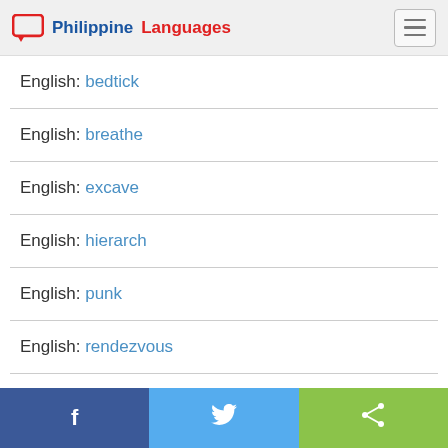Philippine Languages
English: bedtick
English: breathe
English: excave
English: hierarch
English: punk
English: rendezvous
Facebook | Twitter | Share